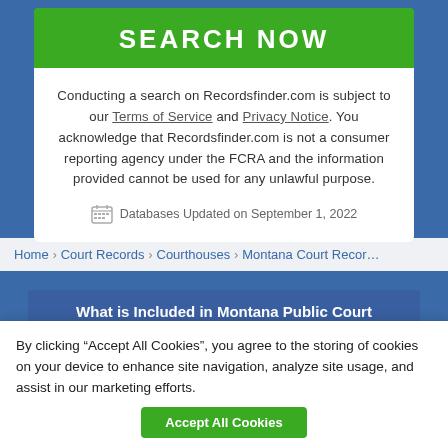[Figure (screenshot): Green 'SEARCH NOW' button]
Conducting a search on Recordsfinder.com is subject to our Terms of Service and Privacy Notice. You acknowledge that Recordsfinder.com is not a consumer reporting agency under the FCRA and the information provided cannot be used for any unlawful purpose.
Databases Updated on September 1, 2022
Home > Court Records > Courthouses > Montana Court Records
What is Included in Montana Public Court
By clicking “Accept All Cookies”, you agree to the storing of cookies on your device to enhance site navigation, analyze site usage, and assist in our marketing efforts.